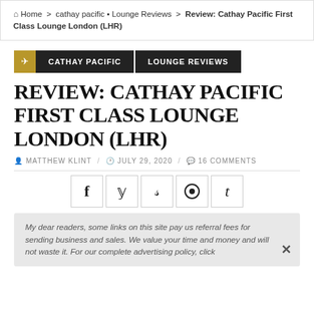Home > cathay pacific • Lounge Reviews > Review: Cathay Pacific First Class Lounge London (LHR)
CATHAY PACIFIC   LOUNGE REVIEWS
REVIEW: CATHAY PACIFIC FIRST CLASS LOUNGE LONDON (LHR)
MATTHEW KLINT / JULY 29, 2020 / 16 COMMENTS
[Figure (other): Social share buttons row: Facebook, Twitter, StumbleUpon, Reddit, Tumblr]
My dear readers, some links on this site pay us referral fees for sending business and sales. We value your time and money and will not waste it. For our complete advertising policy, click